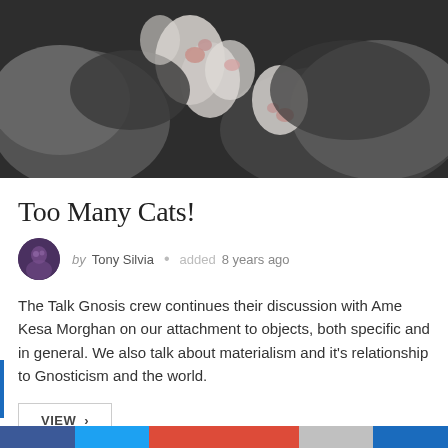[Figure (photo): Close-up photo of cats (kittens) with paws visible, gray and white fur on dark background]
Too Many Cats!
by Tony Silvia • added 8 years ago
The Talk Gnosis crew continues their discussion with Ame Kesa Morghan on our attachment to objects, both specific and in general. We also talk about materialism and it's relationship to Gnosticism and the world.
VIEW >